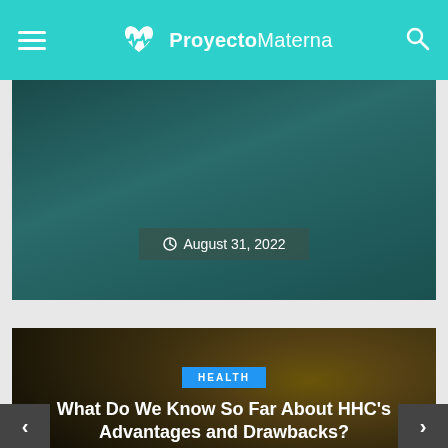ProyectoMaterna
[Figure (photo): Partial view of a cannabis/health article card with dark teal background, showing a date of August 31, 2022]
[Figure (photo): Cannabis bud close-up photo with dark background overlay, showing HEALTH badge, article title 'What Do We Know So Far About HHC's Advantages and Drawbacks?' and date August 29, 2022]